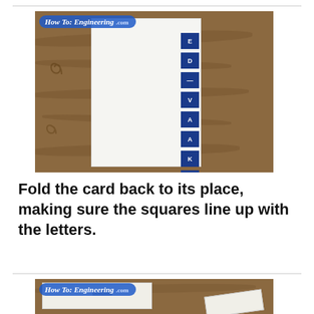[Figure (photo): Photo showing a white folded card with a column of dark blue squares with letters on the right side, placed on a wooden surface. The watermark 'How To: Engineering .com' appears in the top-left corner.]
Fold the card back to its place, making sure the squares line up with the letters.
[Figure (photo): Photo showing a white card and a smaller white card/piece on a wooden surface. A small gray rectangle is visible on the main card. The watermark 'How To: Engineering .com' appears in the top-left corner.]